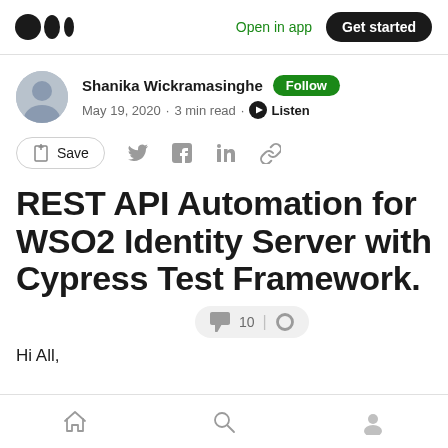Medium logo | Open in app | Get started
Shanika Wickramasinghe · Follow · May 19, 2020 · 3 min read · Listen
[Figure (other): Social action bar with Save button, Twitter, Facebook, LinkedIn, link icons]
REST API Automation for WSO2 Identity Server with Cypress Test Framework.
Hi All,
Bottom navigation bar with Home, Search, Profile icons